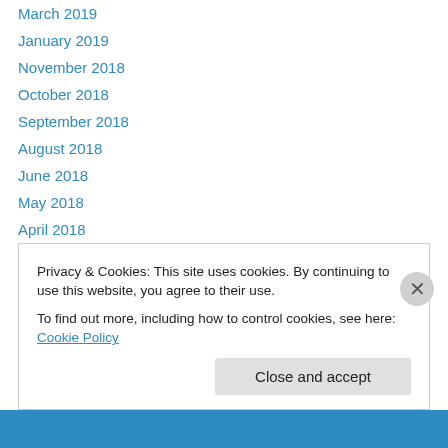March 2019
January 2019
November 2018
October 2018
September 2018
August 2018
June 2018
May 2018
April 2018
March 2018
February 2018
December 2017
November 2017
Privacy & Cookies: This site uses cookies. By continuing to use this website, you agree to their use. To find out more, including how to control cookies, see here: Cookie Policy
Close and accept